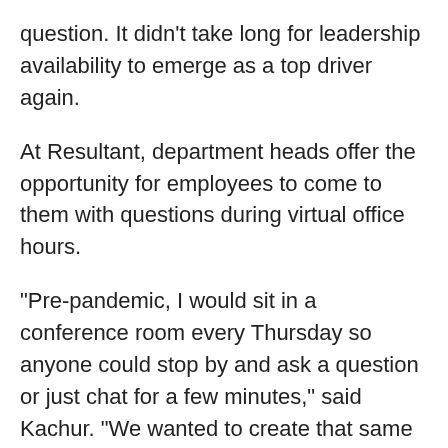question. It didn't take long for leadership availability to emerge as a top driver again.
At Resultant, department heads offer the opportunity for employees to come to them with questions during virtual office hours.
“Pre-pandemic, I would sit in a conference room every Thursday so anyone could stop by and ask a question or just chat for a few minutes,” said Kachur. “We wanted to create that same feel in a virtual environment, so now department heads will open up an online chat room where anyone can pop in. It’s a virtual representation of a room where people can float in and out, open-house style.”